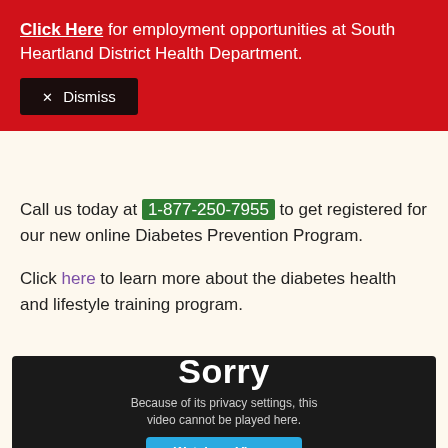Click Here for employment opportunities at South Heartland District Health Department.
✕ Dismiss
Call us today at 1-877-250-7955 to get registered for our new online Diabetes Prevention Program.
Click here to learn more about the diabetes health and lifestyle training program.
[Figure (screenshot): Embedded video placeholder showing 'Sorry — Because of its privacy settings, this video cannot be played here.' with a 'Watch on Vimeo' button on a dark background.]